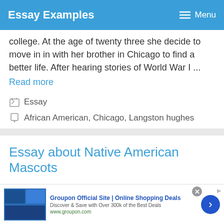Essay Examples   ≡ Menu
college. At the age of twenty three she decide to move in in with her brother in Chicago to find a better life. After hearing stories of World War I ...
Read more
Essay
African American, Chicago, Langston hughes
Essay about Native American Mascots